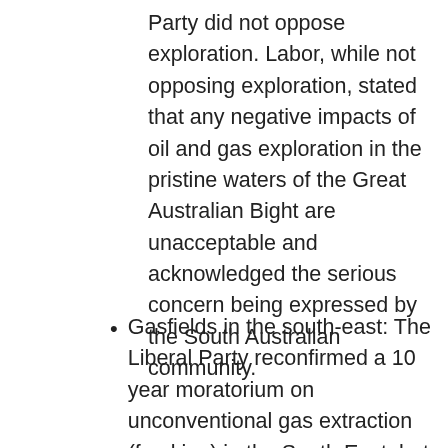Party did not oppose exploration. Labor, while not opposing exploration, stated that any negative impacts of oil and gas exploration in the pristine waters of the Great Australian Bight are unacceptable and acknowledged the serious concern being expressed by the South Australian community.
Gasfields in the south-east: The Liberal Party reconfirmed a 10 year moratorium on unconventional gas extraction (fracking) in the South East, but did not commit to a total ban on all gas activity in the area. The